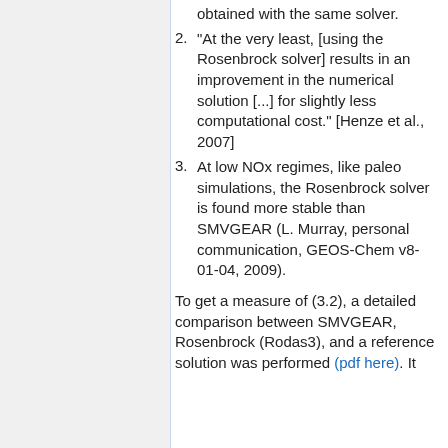obtained with the same solver.
"At the very least, [using the Rosenbrock solver] results in an improvement in the numerical solution [...] for slightly less computational cost." [Henze et al., 2007]
At low NOx regimes, like paleo simulations, the Rosenbrock solver is found more stable than SMVGEAR (L. Murray, personal communication, GEOS-Chem v8-01-04, 2009).
To get a measure of (3.2), a detailed comparison between SMVGEAR, Rosenbrock (Rodas3), and a reference solution was performed (pdf here). It